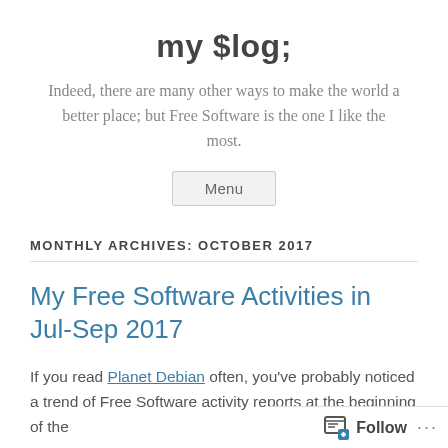my $log;
Indeed, there are many other ways to make the world a better place; but Free Software is the one I like the most.
Menu
MONTHLY ARCHIVES: OCTOBER 2017
My Free Software Activities in Jul-Sep 2017
If you read Planet Debian often, you've probably noticed a trend of Free Software activity reports at the beginning of the
Follow ...